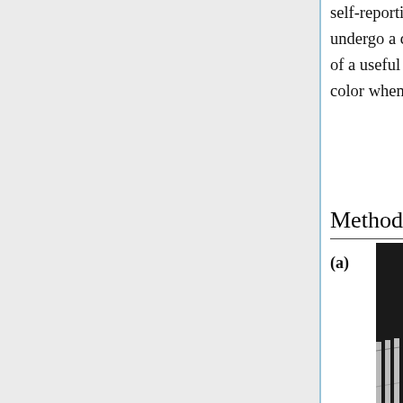self-reporting systems, that is, systems using this combined methodology could undergo a colorimetric change upon changes in the system properties. One example of a useful device from such materials would be a bridge material which changes color when it is under too much stress.
Methods and Results
[Figure (photo): SEM image (a) top: array of silicon nanopillars/fins viewed at angle showing regular periodic vertical structures with a single taller pillar at right]
[Figure (photo): SEM image (a) bottom: close-up view of hollow cylindrical silicon nanopillar array showing circular tube tops arranged in a grid]
[Figure (photo): EDS spectrum and SEM image (b) top: Energy-dispersive X-ray spectroscopy chart showing Si peak labeled at 0 keV, alongside a top-down SEM view of nanopillar array with 2 μm scale bar]
[Figure (photo): Image (b) bottom: 3D perspective illustration of a nanopillar array on substrate showing transparent blue material with regular pillar array]